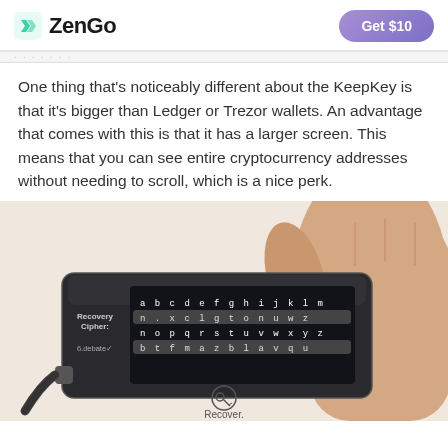ZenGo  |  Get $10
One thing that's noticeably different about the KeepKey is that it's bigger than Ledger or Trezor wallets. An advantage that comes with this is that it has a larger screen. This means that you can see entire cryptocurrency addresses without needing to scroll, which is a nice perk.
[Figure (photo): A hand holding a KeepKey hardware wallet showing its large screen with a Recovery Cipher keyboard display (a–z letters in rows), with a USB cable attached. Below the device is a circular icon with a lock/key symbol and the label 'Recover.']